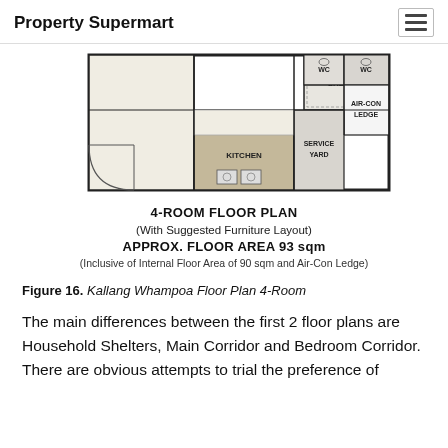Property Supermart
[Figure (schematic): 4-room HDB floor plan showing kitchen, shelter, service yard, WC rooms, air-con ledge, and other spaces with suggested furniture layout.]
4-ROOM FLOOR PLAN
(With Suggested Furniture Layout)
APPROX. FLOOR AREA 93 sqm
(Inclusive of Internal Floor Area of 90 sqm and Air-Con Ledge)
Figure 16. Kallang Whampoa Floor Plan 4-Room
The main differences between the first 2 floor plans are Household Shelters, Main Corridor and Bedroom Corridor. There are obvious attempts to trial the preference of